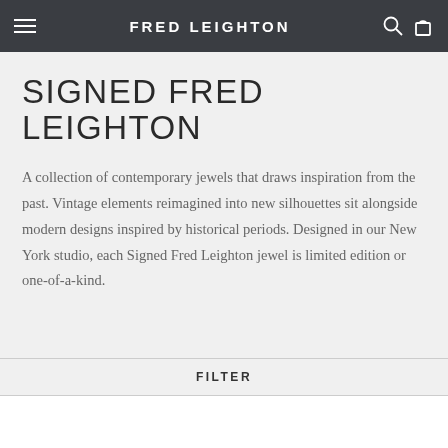FRED LEIGHTON
SIGNED FRED LEIGHTON
A collection of contemporary jewels that draws inspiration from the past. Vintage elements reimagined into new silhouettes sit alongside modern designs inspired by historical periods. Designed in our New York studio, each Signed Fred Leighton jewel is limited edition or one-of-a-kind.
FILTER